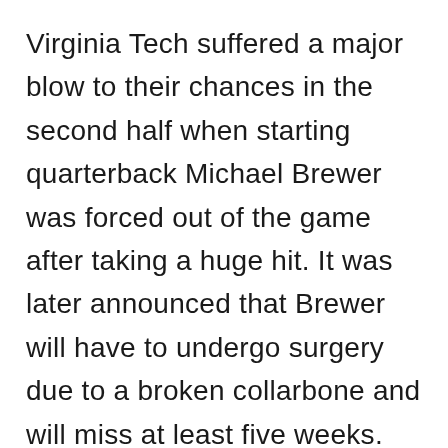Virginia Tech suffered a major blow to their chances in the second half when starting quarterback Michael Brewer was forced out of the game after taking a huge hit. It was later announced that Brewer will have to undergo surgery due to a broken collarbone and will miss at least five weeks.